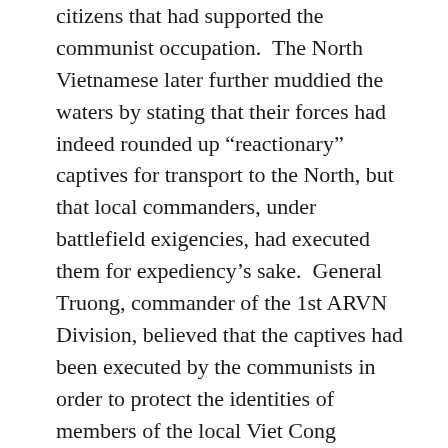citizens that had supported the communist occupation.  The North Vietnamese later further muddied the waters by stating that their forces had indeed rounded up “reactionary” captives for transport to the North, but that local commanders, under battlefield exigencies, had executed them for expediency’s sake.  General Truong, commander of the 1st ARVN Division, believed that the captives had been executed by the communists in order to protect the identities of members of the local Viet Cong infrastructure, whose covers had been blown.  The exact circumstances leading to the deaths of those citizens of Hue discovered in the mass graves may never be known, but it was probably the